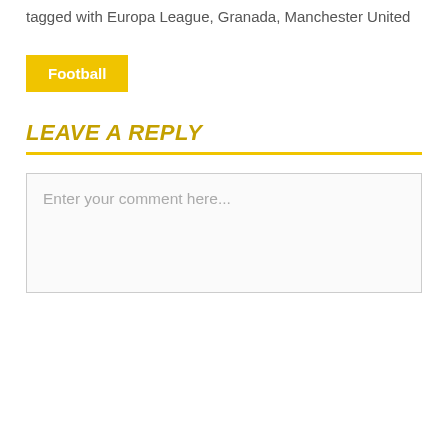tagged with Europa League, Granada, Manchester United
Football
LEAVE A REPLY
Enter your comment here...